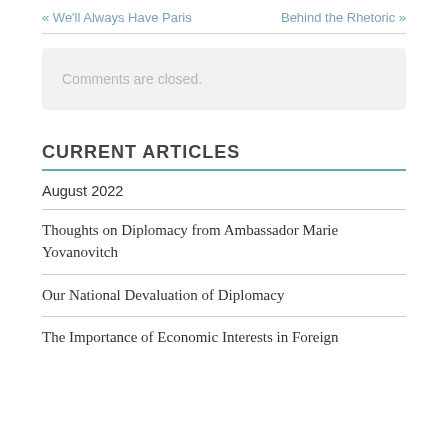« We'll Always Have Paris    Behind the Rhetoric »
Comments are closed.
CURRENT ARTICLES
August 2022
Thoughts on Diplomacy from Ambassador Marie Yovanovitch
Our National Devaluation of Diplomacy
The Importance of Economic Interests in Foreign